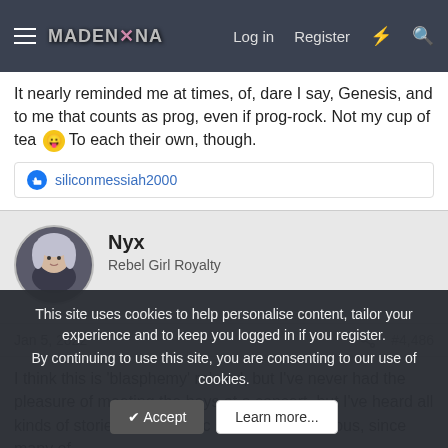MadenXena forum navigation bar with hamburger menu, logo, Log in, Register, lightning icon, search icon
It nearly reminded me at times, of, dare I say, Genesis, and to me that counts as prog, even if prog-rock. Not my cup of tea 😛 To each their own, though.
👍 siliconmessiah2000
Nyx
Rebel Girl Royalty
Jan 5, 2022  #4,486
I think this is 'blasphemy' related, but I've never had the pleasure of meeting the boys at a concert, but I've heard all kinds of stories in the music scene. I was curious, since many of
This site uses cookies to help personalise content, tailor your experience and to keep you logged in if you register.
By continuing to use this site, you are consenting to our use of cookies.